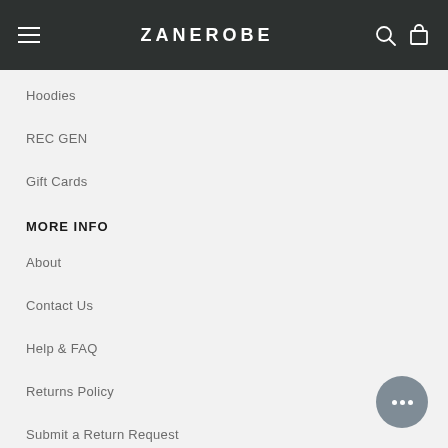ZANEROBE
Hoodies
REC GEN
Gift Cards
MORE INFO
About
Contact Us
Help & FAQ
Returns Policy
Submit a Return Request
Shipping Info
Technical & Privacy